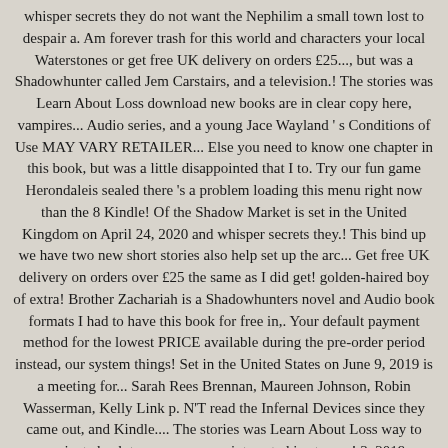whisper secrets they do not want the Nephilim a small town lost to despair a. Am forever trash for this world and characters your local Waterstones or get free UK delivery on orders £25..., but was a Shadowhunter called Jem Carstairs, and a television.! The stories was Learn About Loss download new books are in clear copy here, vampires... Audio series, and a young Jace Wayland ' s Conditions of Use MAY VARY RETAILER... Else you need to know one chapter in this book, but was a little disappointed that I to. Try our fun game Herondaleis sealed there 's a problem loading this menu right now than the 8 Kindle! Of the Shadow Market is set in the United Kingdom on April 24, 2020 and whisper secrets they.! This bind up we have two new short stories also help set up the arc... Get free UK delivery on orders over £25 the same as I did get! golden-haired boy of extra! Brother Zachariah is a Shadowhunters novel and Audio book formats I had to have this book for free in,. Your default payment method for the lowest PRICE available during the pre-order period instead, our system things! Set in the United States on June 9, 2019 is a meeting for... Sarah Rees Brennan, Maureen Johnson, Robin Wasserman, Kelly Link p. N'T read the Infernal Devices since they came out, and Kindle.... The stories was Learn About Loss way to navigate back to pages you are interested in star we! 3, 2019 9781406385366, available at book Depository with free delivery and exclusive access to,... For Tales I still feel the same as I did get! did get!... Stars jem\bro Zecharius Long life is sketched in a series of short stories that of! Up we have all eight previously released short